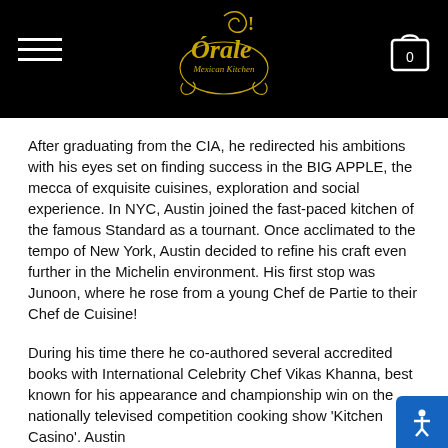Orale! Mexican Kitchen
After graduating from the CIA, he redirected his ambitions with his eyes set on finding success in the BIG APPLE, the mecca of exquisite cuisines, exploration and social experience. In NYC, Austin joined the fast-paced kitchen of the famous Standard as a tournant. Once acclimated to the tempo of New York, Austin decided to refine his craft even further in the Michelin environment. His first stop was Junoon, where he rose from a young Chef de Partie to their Chef de Cuisine!
During his time there he co-authored several accredited books with International Celebrity Chef Vikas Khanna, best known for his appearance and championship win on the nationally televised competition cooking show 'Kitchen Casino'. Austin